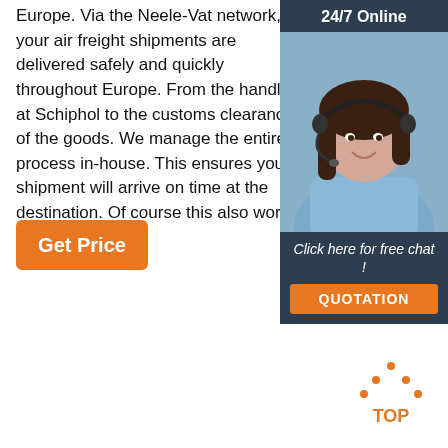Europe. Via the Neele-Vat network, your air freight shipments are delivered safely and quickly throughout Europe. From the handling at Schiphol to the customs clearance of the goods. We manage the entire process in-house. This ensures your shipment will arrive on time at the destination. Of course this also works the other way.
[Figure (other): Sidebar widget with '24/7 Online' header, photo of a smiling woman with headset, 'Click here for free chat!' text, and an orange QUOTATION button, on dark navy/teal background]
[Figure (other): Orange 'Get Price' button]
[Figure (logo): Orange dotted triangle arrow pointing up with text 'TOP' below it, indicating a back-to-top button]